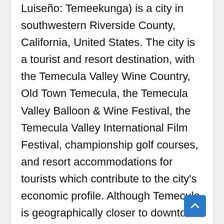Luiseño: Temeekunga) is a city in southwestern Riverside County, California, United States. The city is a tourist and resort destination, with the Temecula Valley Wine Country, Old Town Temecula, the Temecula Valley Balloon & Wine Festival, the Temecula Valley International Film Festival, championship golf courses, and resort accommodations for tourists which contribute to the city's economic profile. Although Temecula is geographically closer to downtown San Diego than downtown Los Angeles, it is considered part of the Greater Los Angeles area. The city of Temecula, forming the southwestern anchor of the Inland Empire region, is approximately 58 miles (93 km) north of downtown San Diego and 85 miles (137 km) southeast of downtown Los Angeles. Temecula is bordered by the city of Murrieta to the north and the Pechanga Indian